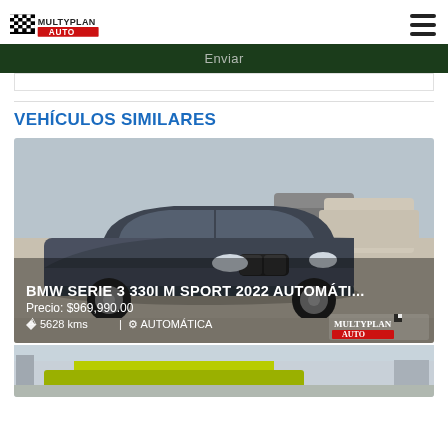MULTYPLAN AUTO
Enviar
VEHÍCULOS SIMILARES
[Figure (photo): Gray BMW Serie 3 330i M Sport 2022 sedan parked in a dealership lot with other cars in background]
BMW SERIE 3 330I M SPORT 2022 AUTOMÁTI...
Precio: $969,990.00
5628 kms | AUTOMÁTICA
[Figure (photo): Partial view of a yellow/green car at the bottom of the page]